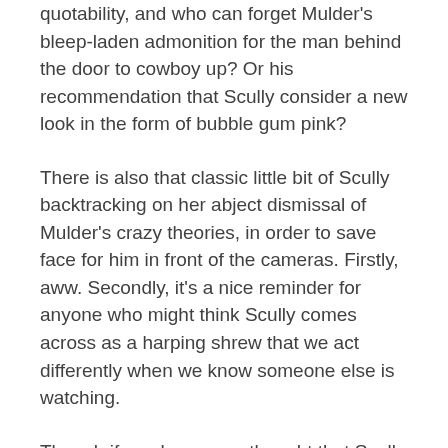quotability, and who can forget Mulder's bleep-laden admonition for the man behind the door to cowboy up? Or his recommendation that Scully consider a new look in the form of bubble gum pink?
There is also that classic little bit of Scully backtracking on her abject dismissal of Mulder's crazy theories, in order to save face for him in front of the cameras. Firstly, aww. Secondly, it's a nice reminder for anyone who might think Scully comes across as a harping shrew that we act differently when we know someone else is watching.
Though if you have ever thought that Scully came across as a harping shrew — how dare you.
2. Triangle